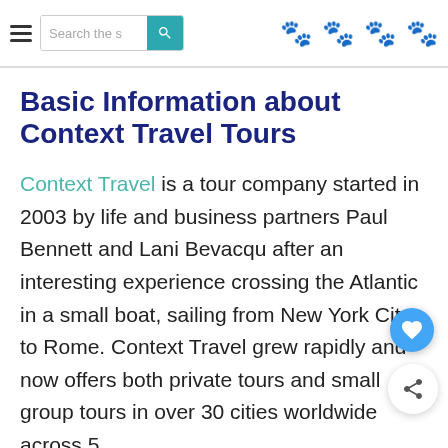Search the s [search button] [paw icons x4]
Basic Information about Context Travel Tours
Context Travel is a tour company started in 2003 by life and business partners Paul Bennett and Lani Bevacqu after an interesting experience crossing the Atlantic in a small boat, sailing from New York City to Rome. Context Travel grew rapidly and now offers both private tours and small group tours in over 30 cities worldwide across 5